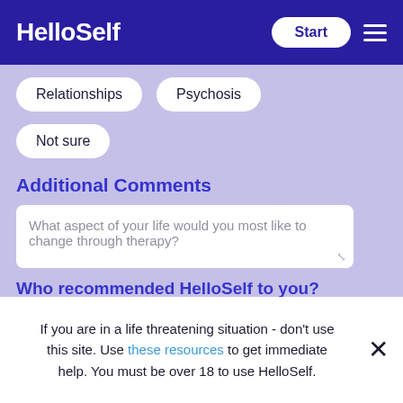HelloSelf
Relationships
Psychosis
Not sure
Additional Comments
What aspect of your life would you most like to change through therapy?
Who recommended HelloSelf to you?
If you are in a life threatening situation - don't use this site. Use these resources to get immediate help. You must be over 18 to use HelloSelf.